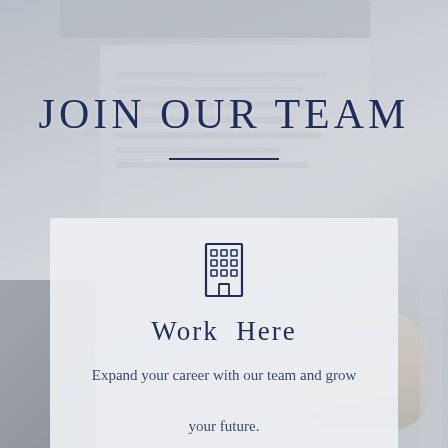[Figure (photo): Background photo of office workers around a whiteboard, rendered in muted grey tones]
JOIN OUR TEAM
[Figure (illustration): Building/office icon (dark navy outline of a multi-storey building with grid windows)]
Work  Here
Expand your career with our team and grow your future.